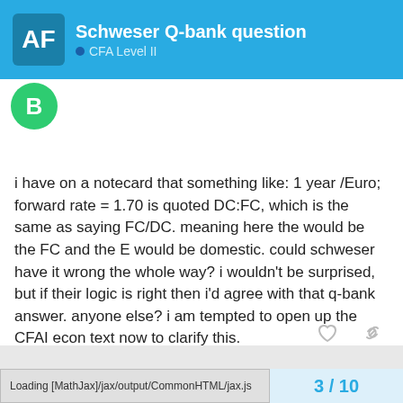Schweser Q-bank question — CFA Level II
i have on a notecard that something like: 1 year /Euro; forward rate = 1.70 is quoted DC:FC, which is the same as saying FC/DC. meaning here the would be the FC and the E would be domestic. could schweser have it wrong the whole way? i wouldn't be surprised, but if their logic is right then i'd agree with that q-bank answer. anyone else? i am tempted to open up the CFAI econ text now to clarify this.
Loading [MathJax]/jax/output/CommonHTML/jax.js    3 / 10